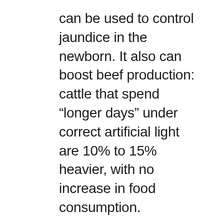can be used to control jaundice in the newborn. It also can boost beef production: cattle that spend “longer days” under correct artificial light are 10% to 15% heavier, with no increase in food consumption.
The light that some scientists consider a “supernutrient” is Full-Spectrum light, which comes from the sun or from fluorescent bulbs of special design that simulate sunlight. (Actually, despite the designation of these artificial lights, they did not match the full spectrum of sunlight.). Incandescent bulbs and most fluorescent bulbs do not produce full-spectrum light. This may be contributing to “mal-illumination” and that is bringing into the